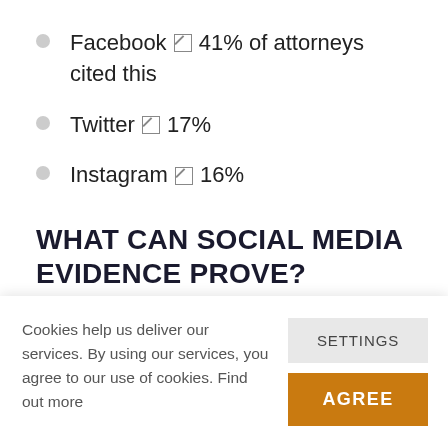Facebook ✕ 41% of attorneys cited this
Twitter ✕ 17%
Instagram ✕ 16%
WHAT CAN SOCIAL MEDIA EVIDENCE PROVE?
There are many things that evidence from
Cookies help us deliver our services. By using our services, you agree to our use of cookies. Find out more